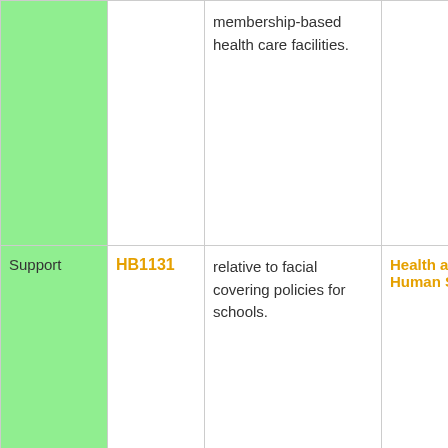| Status | Bill | Description | Committee |
| --- | --- | --- | --- |
|  |  | membership-based health care facilities. |  |
| Support | HB1131 | relative to facial covering policies for schools. | Health and Human Services |